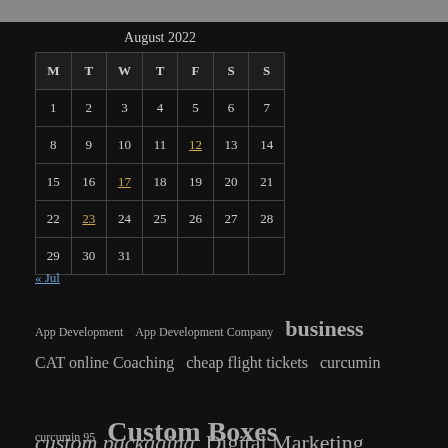August 2022
| M | T | W | T | F | S | S |
| --- | --- | --- | --- | --- | --- | --- |
| 1 | 2 | 3 | 4 | 5 | 6 | 7 |
| 8 | 9 | 10 | 11 | 12 | 13 | 14 |
| 15 | 16 | 17 | 18 | 19 | 20 | 21 |
| 22 | 23 | 24 | 25 | 26 | 27 | 28 |
| 29 | 30 | 31 |  |  |  |  |
« Jul
App Development  App Development Company  business  CAT online Coaching  cheap flight tickets  curcumin  curcumin 95  Custom Boxes  custom packaging  Digital Marketing